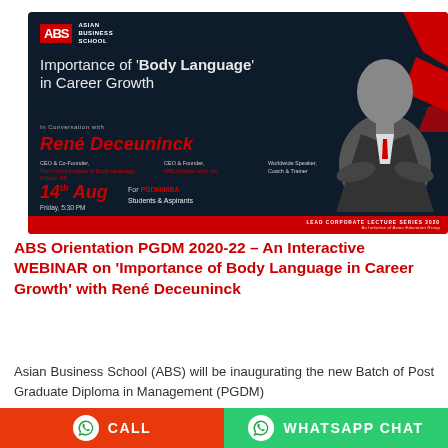[Figure (infographic): ABS (Asian Business School) event poster on dark navy background. Title: Importance of 'Body Language' in Career Growth. Speaker: René Deceuninck — CEO & Co-Founder, The Oxford Institute of Body Language, Oxford, UK; CEO & Founder, WBLInstitute.com, UK; Worldwide Speaker, Coach & Trainer. Date: 14th Aug, Friday 5:30 PM. For PGDM/MBA Students & Aspirants. Red geometric shapes top-right. Black-and-white photo of speaker. Bottom red bar: LEAD CORPORATE LECTURE SERIES 2020. An initiative of Asian Education Group.]
ABS Orientation PGDM 2020-22 – An Interactive WEBINAR on 'Importance of Body Language in Career Growth' with René Deceuninck
Asian Business School (ABS) will be inaugurating the new Batch of Post Graduate Diploma in Management (PGDM)
CALL
WHATSAPP CHAT